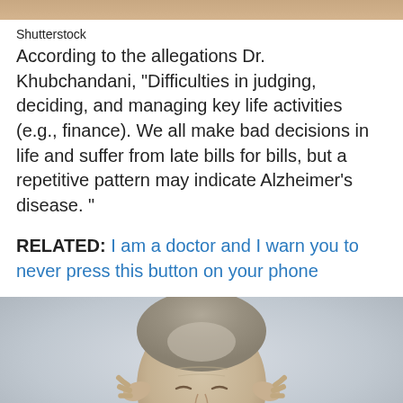[Figure (photo): Top portion of a photo, partial view cropped at top of page]
Shutterstock
According to the allegations Dr. Khubchandani, “Difficulties in judging, deciding, and managing key life activities (e.g., finance). We all make bad decisions in life and suffer from late bills for bills, but a repetitive pattern may indicate Alzheimer’s disease. ”
RELATED: I am a doctor and I warn you to never press this button on your phone
[Figure (photo): An elderly man pressing his fingers to his temples, appearing stressed or in pain, against a light grey background]